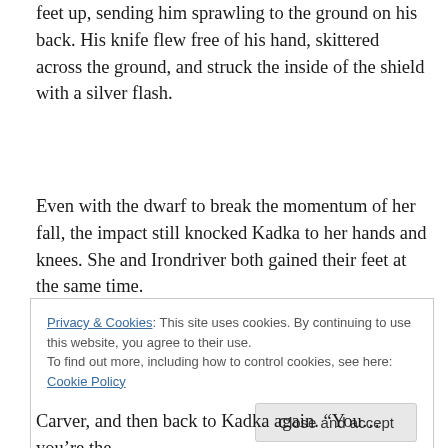feet up, sending him sprawling to the ground on his back. His knife flew free of his hand, skittered across the ground, and struck the inside of the shield with a silver flash.
Even with the dwarf to break the momentum of her fall, the impact still knocked Kadka to her hands and knees. She and Irondriver both gained their feet at the same time.
Privacy & Cookies: This site uses cookies. By continuing to use this website, you agree to their use.
To find out more, including how to control cookies, see here: Cookie Policy
Carver, and then back to Kadka again. “You… you’re the